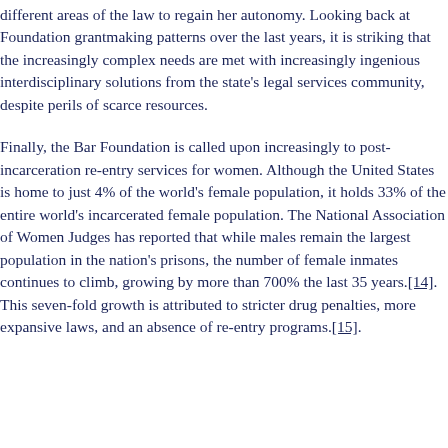different areas of the law to regain her autonomy. Looking back at Foundation grantmaking patterns over the last years, it is striking that the increasingly complex needs are met with increasingly ingenious interdisciplinary solutions from the state's legal services community, despite perils of scarce resources.
Finally, the Bar Foundation is called upon increasingly to post-incarceration re-entry services for women. Although the United States is home to just 4% of the world's female population, it holds 33% of the entire world's incarcerated female population. The National Association of Women Judges has reported that while males remain the largest population in the nation's prisons, the number of female inmates continues to climb, growing by more than 700% the last 35 years.[14]. This seven-fold growth is attributed to stricter drug penalties, more expansive laws, and an absence of re-entry programs.[15].
(partial line cut off at bottom)